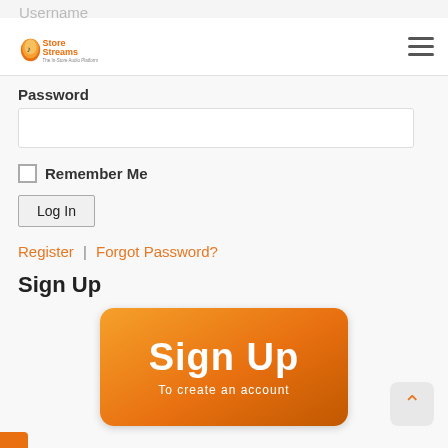StoreStreams — The In-Store Audio Platform
Username
Password
Remember Me
Log In
Register | Forgot Password?
Sign Up
[Figure (illustration): Orange rounded-rectangle button with white bold text 'Sign Up' and subtitle 'To create an account']
To create an account